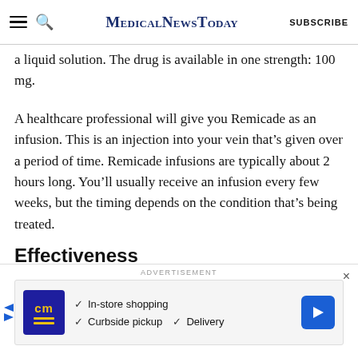MedicalNewsToday SUBSCRIBE
a liquid solution. The drug is available in one strength: 100 mg.
A healthcare professional will give you Remicade as an infusion. This is an injection into your vein that’s given over a period of time. Remicade infusions are typically about 2 hours long. You’ll usually receive an infusion every few weeks, but the timing depends on the condition that’s being treated.
Effectiveness
For information on the effectiveness of Remicade
[Figure (screenshot): Advertisement banner showing cm logo with in-store shopping, curbside pickup, and delivery options with a blue navigation arrow icon]